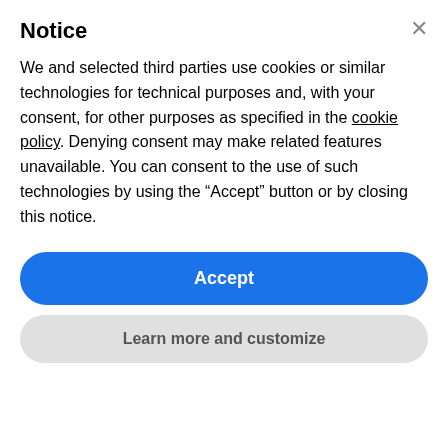Notice
We and selected third parties use cookies or similar technologies for technical purposes and, with your consent, for other purposes as specified in the cookie policy. Denying consent may make related features unavailable. You can consent to the use of such technologies by using the “Accept” button or by closing this notice.
Accept
Learn more and customize
[Figure (photo): Background image placeholder on left, photo of a person on right]
And the Band Played On
Subject: